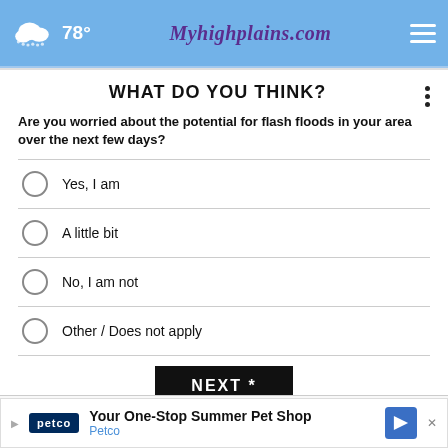78° Myhighplains.com
WHAT DO YOU THINK?
Are you worried about the potential for flash floods in your area over the next few days?
Yes, I am
A little bit
No, I am not
Other / Does not apply
NEXT *
* By clicking "NEXT" you agree to the following: We use cookies to track your survey answers. If you would like to continue with this survey, please read and agree to the CivicScience Privacy Policy and Terms of Service.
[Figure (screenshot): Petco advertisement banner: Your One-Stop Summer Pet Shop]